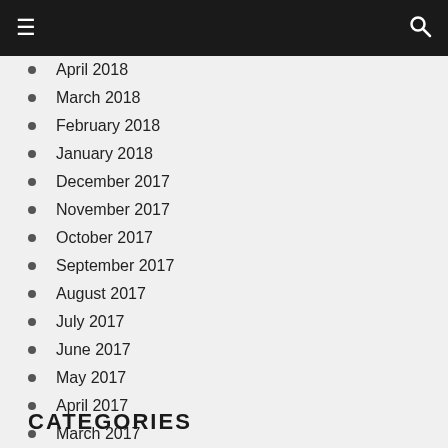☰  🔍
April 2018
March 2018
February 2018
January 2018
December 2017
November 2017
October 2017
September 2017
August 2017
July 2017
June 2017
May 2017
April 2017
March 2017
February 2017
January 2017
CATEGORIES